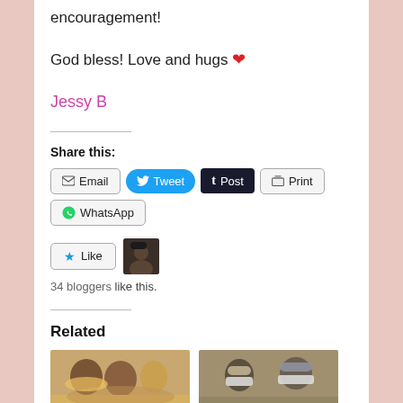encouragement!
God bless! Love and hugs ❤
Jessy B
Share this:
[Figure (screenshot): Social sharing buttons: Email, Tweet, Post (Tumblr), Print, WhatsApp]
[Figure (screenshot): Like button with star icon and blogger avatar thumbnail. Text: 34 bloggers like this.]
Related
[Figure (photo): Two photos: group of smiling women (left), people in medical masks (right)]